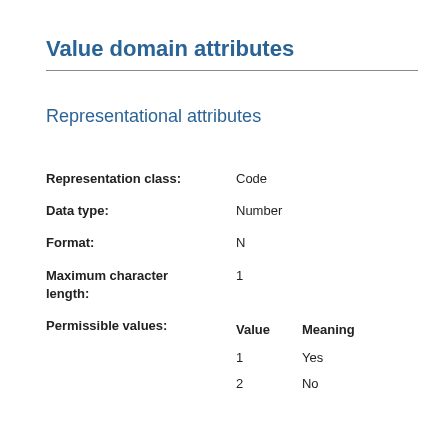Value domain attributes
Representational attributes
|  |  |
| --- | --- |
| Representation class: | Code |
| Data type: | Number |
| Format: | N |
| Maximum character length: | 1 |
| Permissible values: | Value   Meaning
1   Yes
2   No |